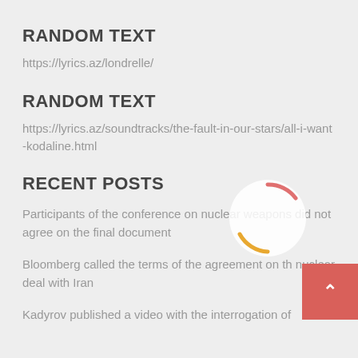RANDOM TEXT
https://lyrics.az/londrelle/
RANDOM TEXT
https://lyrics.az/soundtracks/the-fault-in-our-stars/all-i-want-kodaline.html
RECENT POSTS
Participants of the conference on nuclear weapons did not agree on the final document
Bloomberg called the terms of the agreement on the nuclear deal with Iran
Kadyrov published a video with the interrogation of